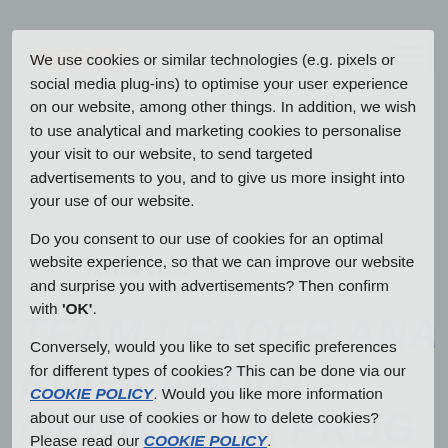We use cookies or similar technologies (e.g. pixels or social media plug-ins) to optimise your user experience on our website, among other things. In addition, we wish to use analytical and marketing cookies to personalise your visit to our website, to send targeted advertisements to you, and to give us more insight into your use of our website.
Do you consent to our use of cookies for an optimal website experience, so that we can improve our website and surprise you with advertisements? Then confirm with 'OK'.
Conversely, would you like to set specific preferences for different types of cookies? This can be done via our COOKIE POLICY. Would you like more information about our use of cookies or how to delete cookies? Please read our COOKIE POLICY.